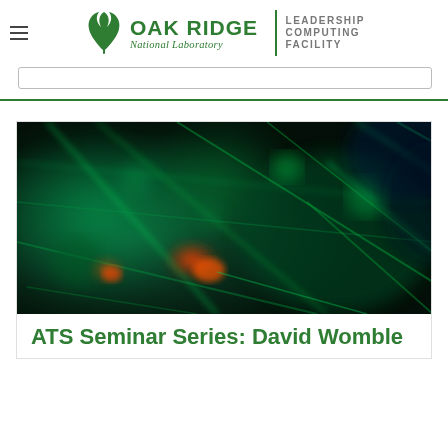Oak Ridge National Laboratory — Leadership Computing Facility
[Figure (photo): Close-up microscopy or scientific visualization image with dark green background showing glowing green network/mesh structures with orange/red bright spots, resembling neural networks or biological tissue under fluorescence imaging.]
ATS Seminar Series: David Womble